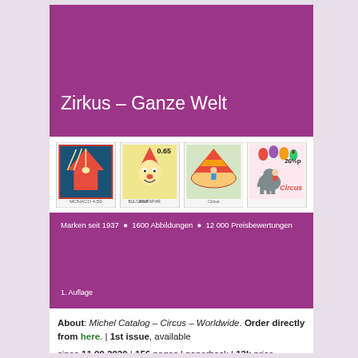Zirkus – Ganze Welt
[Figure (illustration): Four postage stamps showing circus themes: Monaco circus stamp, Bulgaria clown stamp 0.65, a circus scene stamp, and a UK 20½p circus with elephant stamp]
Marken seit 1937 • 1600 Abbildungen • 12000 Preisbewertungen
1. Auflage
About: Michel Catalog – Circus – Worldwide. Order directly from here. | 1st issue, available since 11.09.2020 | 156 pages | paperback | 12k price notices| 1600 color illustrations| stamps until the second